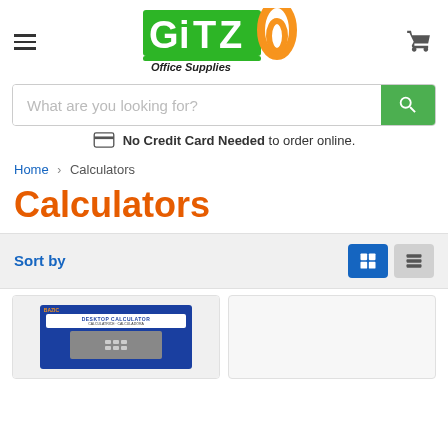Gitz Office Supplies - header with hamburger menu and cart
[Figure (logo): Gitz Office Supplies logo with green block letters and orange paperclip]
What are you looking for?
No Credit Card Needed to order online.
Home > Calculators
Calculators
Sort by
[Figure (screenshot): Two product cards showing calculators, first shows a BAZIC Desktop Calculator packaging in blue]